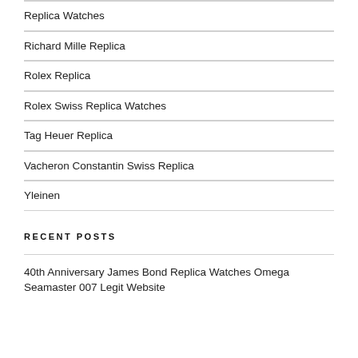Replica Watches
Richard Mille Replica
Rolex Replica
Rolex Swiss Replica Watches
Tag Heuer Replica
Vacheron Constantin Swiss Replica
Yleinen
RECENT POSTS
40th Anniversary James Bond Replica Watches Omega Seamaster 007 Legit Website